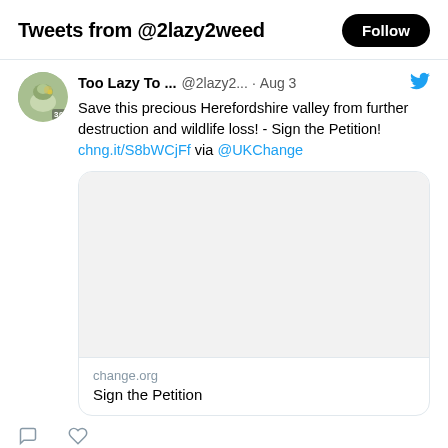Tweets from @2lazy2weed
Too Lazy To ...  @2lazy2...  · Aug 3
Save this precious Herefordshire valley from further destruction and wildlife loss! - Sign the Petition! chng.it/S8bWCjFf via @UKChange
[Figure (screenshot): Embedded card preview with change.org domain and 'Sign the Petition' title, with a blank/light image area]
change.org
Sign the Petition